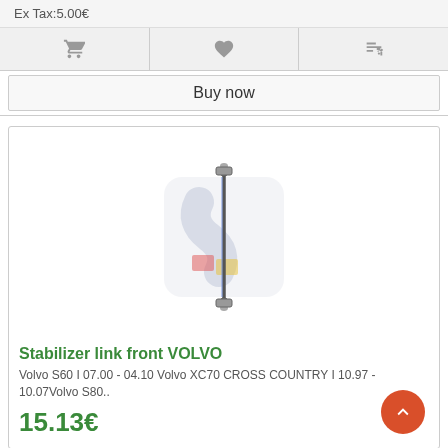Ex Tax:5.00€
[Figure (infographic): Three action icons in a row: shopping cart, heart/wishlist, and compare arrows]
Buy now
[Figure (photo): Stabilizer link front VOLVO product image showing a metal rod with ball joints against a watermarked background]
Stabilizer link front VOLVO
Volvo S60 I 07.00 - 04.10 Volvo XC70 CROSS COUNTRY I 10.97 - 10.07Volvo S80..
15.13€